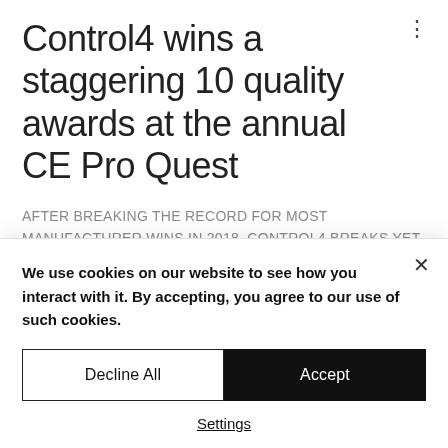Control4 wins a staggering 10 quality awards at the annual CE Pro Quest
AFTER BREAKING THE RECORD FOR MOST MANUFACTURER WINS IN 2018, CONTROL4 BREAKS YET ANOTHER THIS YEAR FOR AN ASTOUNDING TEN.
Control4, a leading global provider of
We use cookies on our website to see how you interact with it. By accepting, you agree to our use of such cookies.
Decline All
Accept
Settings